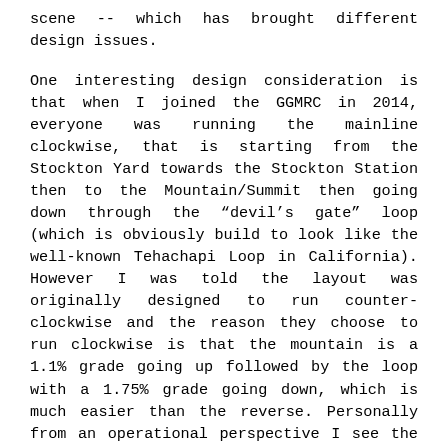scene -- which has brought different design issues.
One interesting design consideration is that when I joined the GGMRC in 2014, everyone was running the mainline clockwise, that is starting from the Stockton Yard towards the Stockton Station then to the Mountain/Summit then going down through the “devil’s gate” loop (which is obviously build to look like the well-known Tehachapi Loop in California). However I was told the layout was originally designed to run counter-clockwise and the reason they choose to run clockwise is that the mountain is a 1.1% grade going up followed by the loop with a 1.75% grade going down, which is much easier than the reverse. Personally from an operational perspective I see the layout as being able to run both directions at once with clear sidings for meets and potential for helper units being added and removed for the long grades.
Let’s consider the electrical and control aspect. The layout obviously started as DC (non digital) control. One bit of background explanation is useful here: on a DC layout, the trains are powered by the voltage applied to the track. Typically one transformer is connected to the track and varying the voltage controls the trains speed --